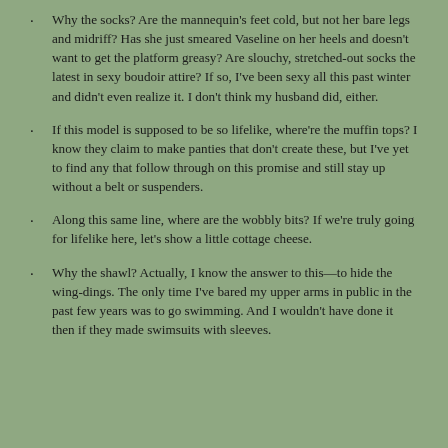Why the socks? Are the mannequin's feet cold, but not her bare legs and midriff? Has she just smeared Vaseline on her heels and doesn't want to get the platform greasy? Are slouchy, stretched-out socks the latest in sexy boudoir attire? If so, I've been sexy all this past winter and didn't even realize it. I don't think my husband did, either.
If this model is supposed to be so lifelike, where're the muffin tops? I know they claim to make panties that don't create these, but I've yet to find any that follow through on this promise and still stay up without a belt or suspenders.
Along this same line, where are the wobbly bits? If we're truly going for lifelike here, let's show a little cottage cheese.
Why the shawl? Actually, I know the answer to this—to hide the wing-dings. The only time I've bared my upper arms in public in the past few years was to go swimming. And I wouldn't have done it then if they made swimsuits with sleeves.